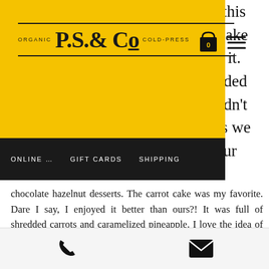[Figure (logo): P.S. & Co Organic Cold-Press logo on yellow background with cart and hamburger menu icons]
ONLINE ... GIFT CARDS SHIPPING
chocolate hazelnut desserts. The carrot cake was my favorite. Dare I say, I enjoyed it better than ours?! It was full of shredded carrots and caramelized pineapple. I love the idea of adding pineapple to carrot cake. We may play with our carrot cake recipe!
Natural Grocers – similar to Mom's Organic if you're from the Mid-Atlantic
Phone and email contact icons